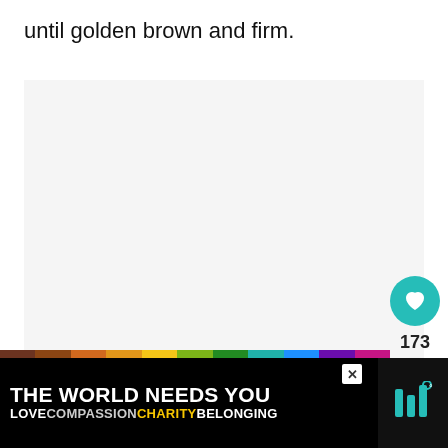until golden brown and firm.
[Figure (screenshot): Large light gray content area placeholder, likely an image of food/baked goods]
[Figure (infographic): UI overlay with teal heart button, 173 likes count, and share button]
[Figure (infographic): WHAT'S NEXT card showing Matcha Shortbread... with cookie thumbnail image]
[Figure (infographic): Advertisement banner: THE WORLD NEEDS YOU with rainbow bar and LOVE COMPASSION CHARITY BELONGING tagline]